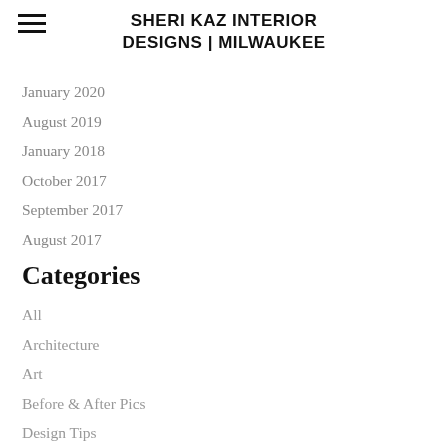SHERI KAZ INTERIOR DESIGNS | MILWAUKEE
January 2020
August 2019
January 2018
October 2017
September 2017
August 2017
Categories
All
Architecture
Art
Before & After Pics
Design Tips
DIY
Exterior Curb Appeal
For Sale
Historic Home Restoration
Home Decor